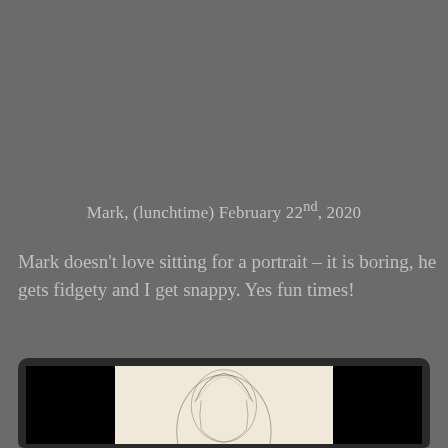Mark, (lunchtime) February 22nd, 2020
Mark doesn't love sitting for a portrait – it is boring, he gets fidgety and I get snappy. Yes fun times!
[Figure (photo): A laptop computer screen displaying a pencil sketch portrait of a person's head and shoulders on a cream/beige background, with black areas on either side of the sketch on the screen.]